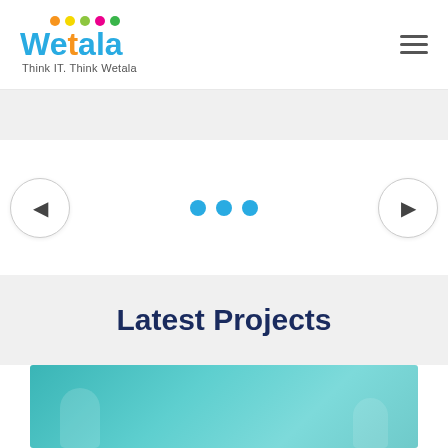[Figure (logo): Wetala company logo with colorful dots above the text and tagline 'Think IT. Think Wetala']
[Figure (infographic): Hamburger menu icon (three horizontal lines) in top right corner]
[Figure (infographic): Carousel navigation with left arrow button, three blue dots, and right arrow button]
Latest Projects
[Figure (photo): Teal/cyan colored image showing silhouettes of people, appears to be a project showcase image]